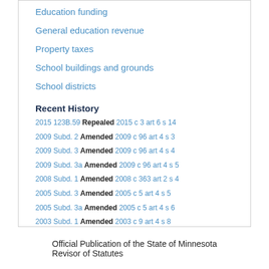Education funding
General education revenue
Property taxes
School buildings and grounds
School districts
Recent History
2015 123B.59 Repealed 2015 c 3 art 6 s 14
2009 Subd. 2 Amended 2009 c 96 art 4 s 3
2009 Subd. 3 Amended 2009 c 96 art 4 s 4
2009 Subd. 3a Amended 2009 c 96 art 4 s 5
2008 Subd. 1 Amended 2008 c 363 art 2 s 4
2005 Subd. 3 Amended 2005 c 5 art 4 s 5
2005 Subd. 3a Amended 2005 c 5 art 4 s 6
2003 Subd. 1 Amended 2003 c 9 art 4 s 8
2003 Subd. 2 Amended 2003 c 9 art 4 s 9
2003 Subd. 3 Amended 2003 c 9 art 4 s 10
Official Publication of the State of Minnesota
Revisor of Statutes